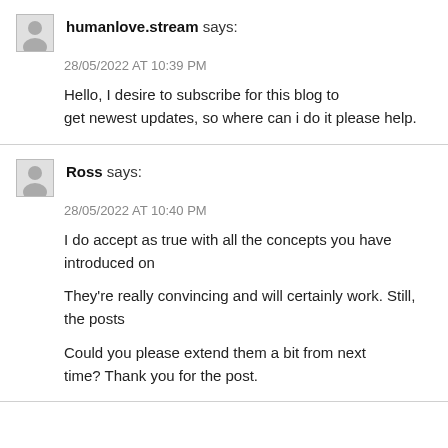humanlove.stream says:
28/05/2022 AT 10:39 PM
Hello, I desire to subscribe for this blog to get newest updates, so where can i do it please help.
Ross says:
28/05/2022 AT 10:40 PM
I do accept as true with all the concepts you have introduced on
They're really convincing and will certainly work. Still, the posts
Could you please extend them a bit from next time? Thank you for the post.